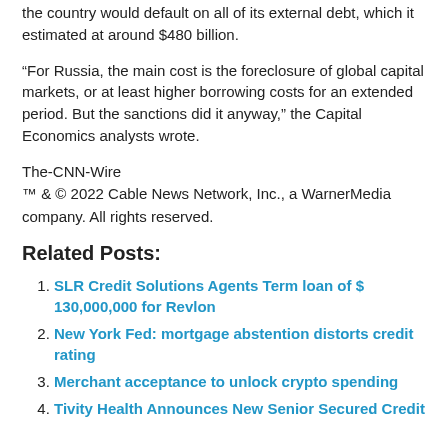the country would default on all of its external debt, which it estimated at around $480 billion.
“For Russia, the main cost is the foreclosure of global capital markets, or at least higher borrowing costs for an extended period. But the sanctions did it anyway,” the Capital Economics analysts wrote.
The-CNN-Wire
™ & © 2022 Cable News Network, Inc., a WarnerMedia company. All rights reserved.
Related Posts:
SLR Credit Solutions Agents Term loan of $ 130,000,000 for Revlon
New York Fed: mortgage abstention distorts credit rating
Merchant acceptance to unlock crypto spending
Tivity Health Announces New Senior Secured Credit